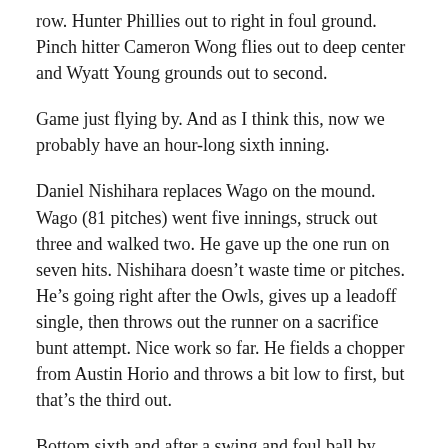row. Hunter Phillies out to right in foul ground. Pinch hitter Cameron Wong flies out to deep center and Wyatt Young grounds out to second.
Game just flying by. And as I think this, now we probably have an hour-long sixth inning.
Daniel Nishihara replaces Wago on the mound. Wago (81 pitches) went five innings, struck out three and walked two. He gave up the one run on seven hits. Nishihara doesn’t waste time or pitches. He’s going right after the Owls, gives up a leadoff single, then throws out the runner on a sacrifice bunt attempt. Nice work so far. He fields a chopper from Austin Horio and throws a bit low to first, but that’s the third out.
Bottom sixth and after a swing and foul ball by pinch hitter Breyndon Nakamura, Owls coach Dunn Muramaru jogs in to ask the home plate umpire something. I’m guessing he’s asking if there was catcher’s interference and he has a point. It was very close.